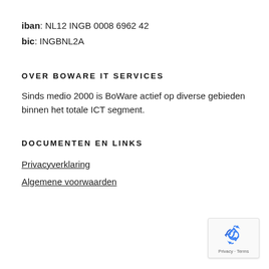iban: NL12 INGB 0008 6962 42
bic: INGBNL2A
OVER BOWARE IT SERVICES
Sinds medio 2000 is BoWare actief op diverse gebieden binnen het totale ICT segment.
DOCUMENTEN EN LINKS
Privacyverklaring
Algemene voorwaarden
[Figure (logo): Google reCAPTCHA badge with recycling arrow logo icon, showing 'Privacy · Terms' text below]